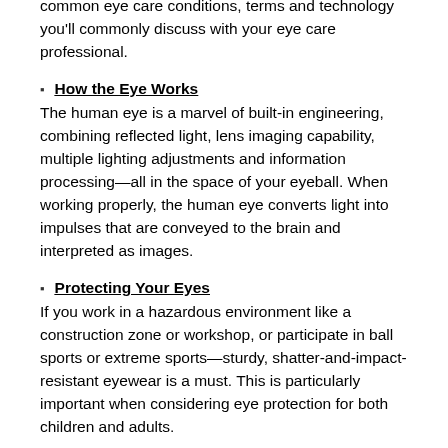EyeGlass Guide Glossary covers many of the common eye care conditions, terms and technology you'll commonly discuss with your eye care professional.
How the Eye Works
The human eye is a marvel of built-in engineering, combining reflected light, lens imaging capability, multiple lighting adjustments and information processing—all in the space of your eyeball. When working properly, the human eye converts light into impulses that are conveyed to the brain and interpreted as images.
Protecting Your Eyes
If you work in a hazardous environment like a construction zone or workshop, or participate in ball sports or extreme sports—sturdy, shatter-and-impact-resistant eyewear is a must. This is particularly important when considering eye protection for both children and adults.
Eye Exams
Seeing clearly is just one part of your overall eye health. It's important to have regular eye exams whether or not you wear glasses or contacts, and even if your vision is sharp. The articles below explain what problems can be spotted with an